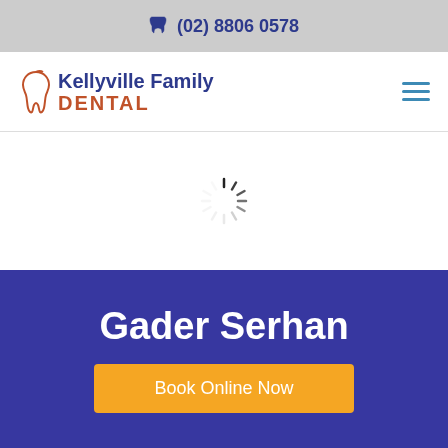(02) 8806 0578
[Figure (logo): Kellyville Family Dental logo with tooth arc icon]
[Figure (other): Loading spinner animation]
Gader Serhan
Book Online Now